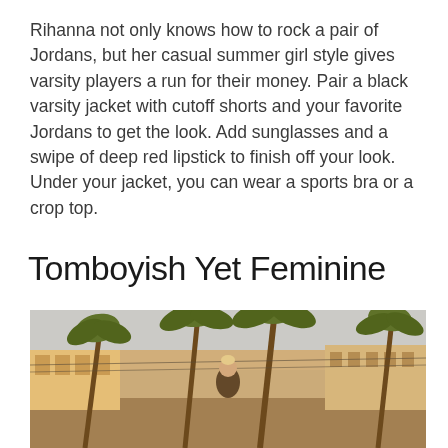Rihanna not only knows how to rock a pair of Jordans, but her casual summer girl style gives varsity players a run for their money. Pair a black varsity jacket with cutoff shorts and your favorite Jordans to get the look. Add sunglasses and a swipe of deep red lipstick to finish off your look. Under your jacket, you can wear a sports bra or a crop top.
Tomboyish Yet Feminine
[Figure (photo): A woman with blonde hair in a bun wearing a dark outfit, standing outdoors on a street lined with tall palm trees. Buildings are visible in the background. The lighting suggests a warm golden-hour sunset.]